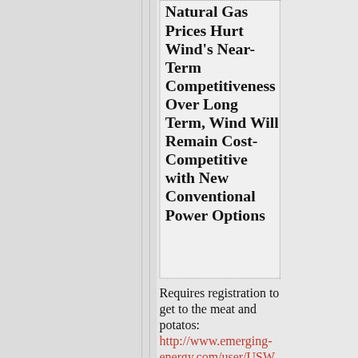Natural Gas Prices Hurt Wind's Near-Term Competitiveness Over Long Term, Wind Will Remain Cost-Competitive with New Conventional Power Options
Requires registration to get to the meat and potatos: http://www.emerging-energy.com/user/USW